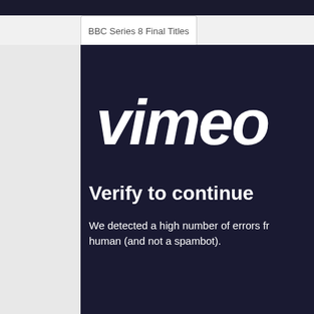BBC Series 8 Final Titles
[Figure (logo): Vimeo logo in white italic bold text on dark navy background]
Verify to continue
We detected a high number of errors fr... human (and not a spambot).